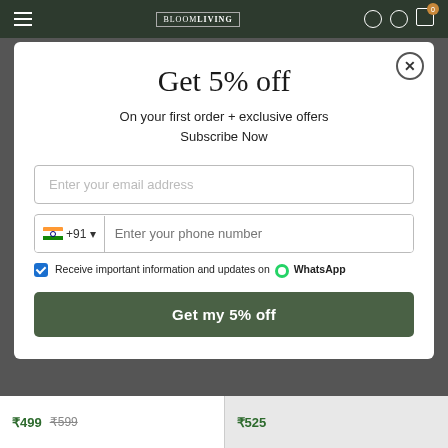Navigation bar with logo and cart (0 items)
Get 5% off
On your first order + exclusive offers
Subscribe Now
Enter your email address
+91  Enter your phone number
Receive important information and updates on WhatsApp
Get my 5% off
₹499  ₹599
₹525